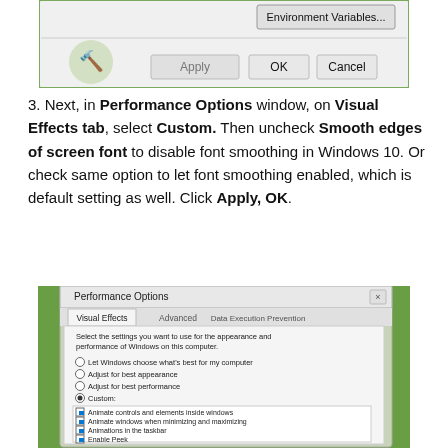[Figure (screenshot): Windows dialog showing Environment Variables button and OK, Cancel, Apply buttons at bottom]
3. Next, in Performance Options window, on Visual Effects tab, select Custom. Then uncheck Smooth edges of screen font to disable font smoothing in Windows 10. Or check same option to let font smoothing enabled, which is default setting as well. Click Apply, OK.
[Figure (screenshot): Windows Performance Options dialog showing Visual Effects tab with Custom option selected and list of checkboxes for visual effects]